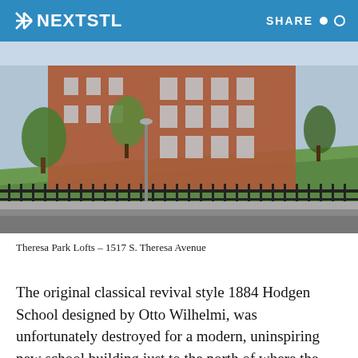NEXTSTL | SHARE
[Figure (photo): Exterior photo of Theresa Park Lofts, a large multi-story brick school building with trees and a sloped lawn in front, black iron fence along the sidewalk.]
Theresa Park Lofts – 1517 S. Theresa Avenue
The original classical revival style 1884 Hodgen School designed by Otto Wilhelmi, was unfortunately destroyed for a modern, uninspiring new school building just to the north of where the former work of art existed. Even though the neighborhoods surrounding the school are integrated, the student population at Hodgen is